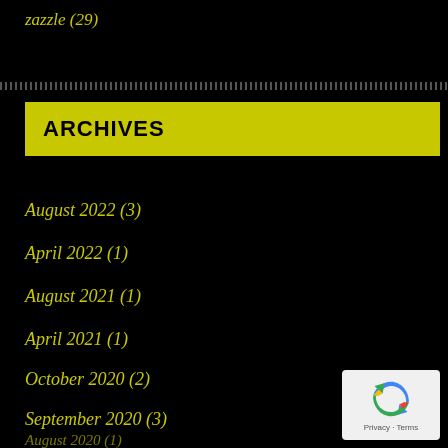zazzle (29)
ARCHIVES
August 2022 (3)
April 2022 (1)
August 2021 (1)
April 2021 (1)
October 2020 (2)
September 2020 (3)
August 2020 (1)
July 2020 (2)